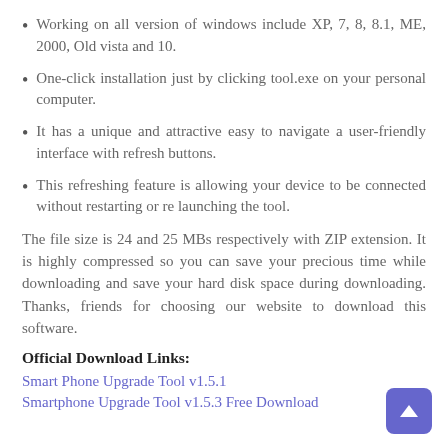Working on all version of windows include XP, 7, 8, 8.1, ME, 2000, Old vista and 10.
One-click installation just by clicking tool.exe on your personal computer.
It has a unique and attractive easy to navigate a user-friendly interface with refresh buttons.
This refreshing feature is allowing your device to be connected without restarting or re launching the tool.
The file size is 24 and 25 MBs respectively with ZIP extension. It is highly compressed so you can save your precious time while downloading and save your hard disk space during downloading. Thanks, friends for choosing our website to download this software.
Official Download Links:
Smart Phone Upgrade Tool v1.5.1
Smartphone Upgrade Tool v1.5.3 Free Download